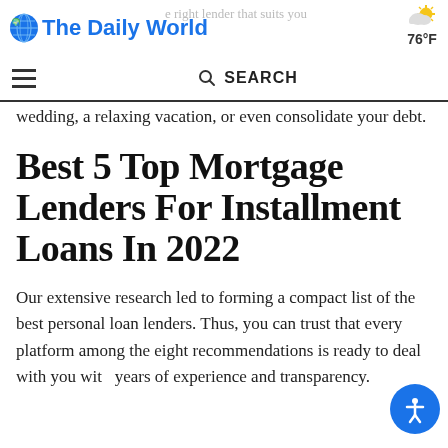The Daily World | 76°F
wedding, a relaxing vacation, or even consolidate your debt.
Best 5 Top Mortgage Lenders For Installment Loans In 2022
Our extensive research led to forming a compact list of the best personal loan lenders. Thus, you can trust that every platform among the eight recommendations is ready to deal with you with years of experience and transparency.